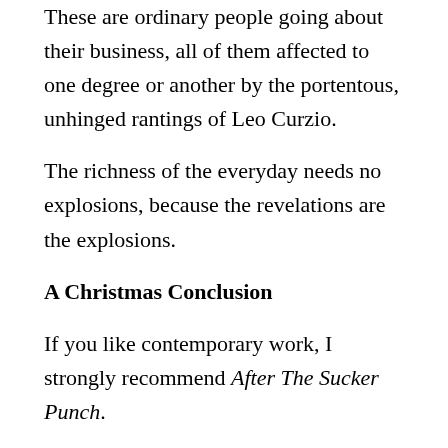These are ordinary people going about their business, all of them affected to one degree or another by the portentous, unhinged rantings of Leo Curzio.
The richness of the everyday needs no explosions, because the revelations are the explosions.
A Christmas Conclusion
If you like contemporary work, I strongly recommend After The Sucker Punch.
Forget the e-book for once: Treat yourself to an early Christmas present and buy the paperback